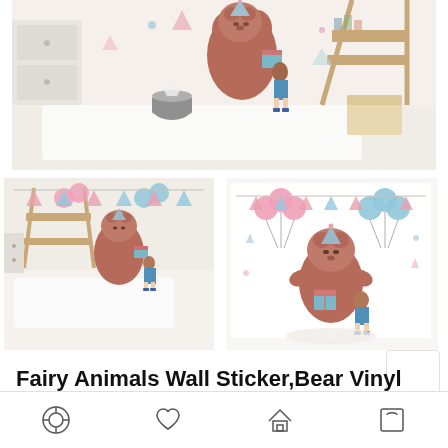[Figure (photo): Main product photo showing a children's room with bear and girl wall sticker mural applied to wall, with wooden shelf and storage boxes]
[Figure (photo): Thumbnail of children's room with bear and girl wall sticker, showing teepee and wooden furniture]
[Figure (photo): Close-up thumbnail of the bear and girl wall sticker design with balloons and bunting on white background]
Fairy Animals Wall Sticker,Bear Vinyl Wall Sticker, Balloon Decal for Kids Room
Navigation bar with profile, wishlist, home, and cart icons